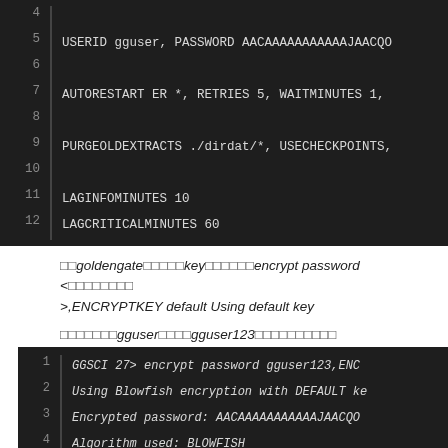[Figure (screenshot): Dark-themed code block showing configuration lines 4-12 with USERID, AUTORESTART, PURGEOLDEXTRACTS, LAGINFOMINUTES, LAGCRITICALMINUTES parameters]
goldengate key encrypt password < >,ENCRYPTKEY default Using default key
gguser gguser123
[Figure (screenshot): Dark-themed terminal block showing GGSCI encrypt password command output with Blowfish encryption, encrypted password and algorithm BLOWFISH]
goldengate